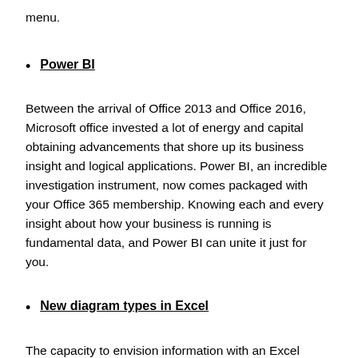menu.
Power BI
Between the arrival of Office 2013 and Office 2016, Microsoft office invested a lot of energy and capital obtaining advancements that shore up its business insight and logical applications. Power BI, an incredible investigation instrument, now comes packaged with your Office 365 membership. Knowing each and every insight about how your business is running is fundamental data, and Power BI can unite it just for you.
New diagram types in Excel
The capacity to envision information with an Excel outline has dependably been a welcome and amazing